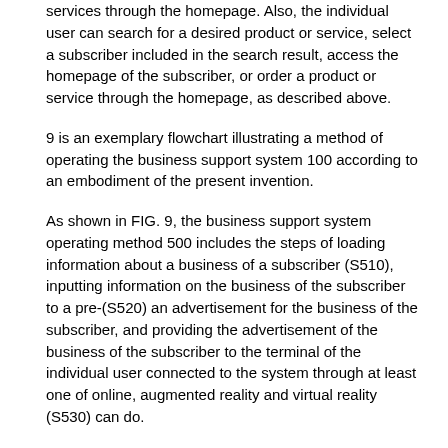services through the homepage. Also, the individual user can search for a desired product or service, select a subscriber included in the search result, access the homepage of the subscriber, or order a product or service through the homepage, as described above.
9 is an exemplary flowchart illustrating a method of operating the business support system 100 according to an embodiment of the present invention.
As shown in FIG. 9, the business support system operating method 500 includes the steps of loading information about a business of a subscriber (S510), inputting information on the business of the subscriber to a pre-(S520) an advertisement for the business of the subscriber, and providing the advertisement of the business of the subscriber to the terminal of the individual user connected to the system through at least one of online, augmented reality and virtual reality (S530) can do.
The business support system operating method 500 may be performed by the business support system 100 according to the embodiment of the present invention.